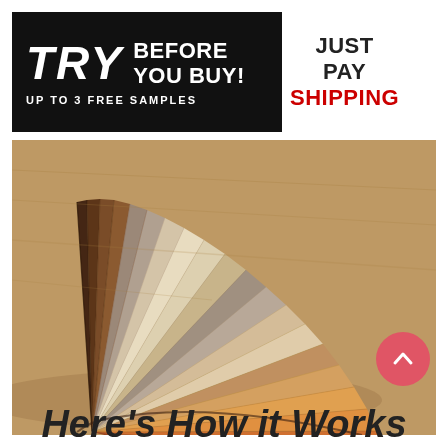[Figure (infographic): Promotional banner split into two parts: left black section with 'TRY BEFORE YOU BUY! UP TO 3 FREE SAMPLES' in white bold text; right white section with 'JUST PAY SHIPPING' in dark/red bold text.]
[Figure (photo): A fan of wood flooring samples spread out on a wooden surface, showing various wood tones from dark brown to light orange/red, fanned out in a semicircle.]
Here's How it Works